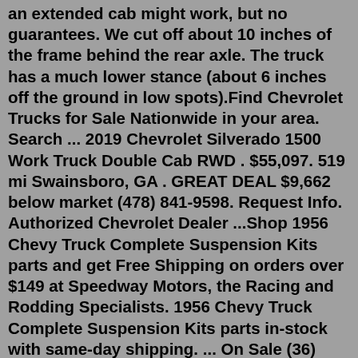an extended cab might work, but no guarantees. We cut off about 10 inches of the frame behind the rear axle. The truck has a much lower stance (about 6 inches off the ground in low spots).Find Chevrolet Trucks for Sale Nationwide in your area. Search ... 2019 Chevrolet Silverado 1500 Work Truck Double Cab RWD . $55,097. 519 mi Swainsboro, GA . GREAT DEAL $9,662 below market (478) 841-9598. Request Info. Authorized Chevrolet Dealer ...Shop 1956 Chevy Truck Complete Suspension Kits parts and get Free Shipping on orders over $149 at Speedway Motors, the Racing and Rodding Specialists. 1956 Chevy Truck Complete Suspension Kits parts in-stock with same-day shipping. ... On Sale (36) New (3) ... 4 Inch Lowered (4) 6 Inch Lowered ...Find 1986 CHEVROLET C10 Suspension Lowering Kits and get Free Shipping on Orders Over $99 at Summit Racing! ... Truck Bed Style. Fleetside/Styleside (29) Stepside/Flareside (18) Get Results; ... Never miss a sale on new parts, tools, and more! = Required.Custom lowered chevrolet truck 1-